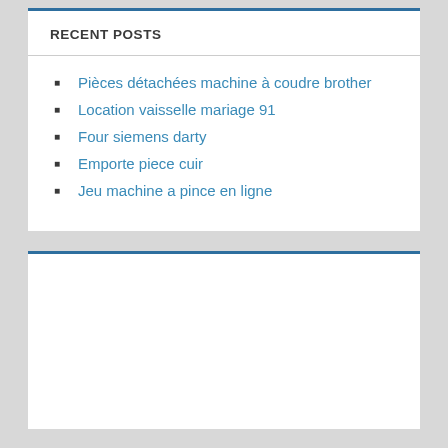RECENT POSTS
Pièces détachées machine à coudre brother
Location vaisselle mariage 91
Four siemens darty
Emporte piece cuir
Jeu machine a pince en ligne